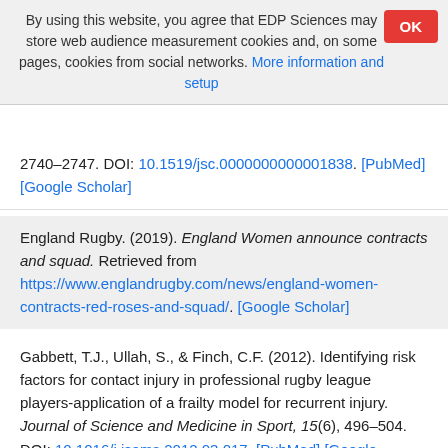By using this website, you agree that EDP Sciences may store web audience measurement cookies and, on some pages, cookies from social networks. More information and setup
2740–2747. DOI: 10.1519/jsc.0000000000001838. [PubMed] [Google Scholar]
England Rugby. (2019). England Women announce contracts and squad. Retrieved from https://www.englandrugby.com/news/england-women-contracts-red-roses-and-squad/. [Google Scholar]
Gabbett, T.J., Ullah, S., & Finch, C.F. (2012). Identifying risk factors for contact injury in professional rugby league players-application of a frailty model for recurrent injury. Journal of Science and Medicine in Sport, 15(6), 496–504. DOI: 10.1016/j.jsams.2012.03.017. [PubMed] [Google Scholar]